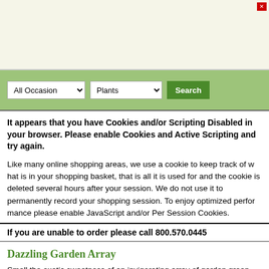[Figure (screenshot): Banner advertisement area, light beige background with a small red close button in top-right corner]
All Occasion [dropdown] Plants [dropdown] Search [button]
It appears that you have Cookies and/or Scripting Disabled in your browser. Please enable Cookies and Active Scripting and try again.

Like many online shopping areas, we use a cookie to keep track of what is in your shopping basket, that is all it is used for and the cookie is deleted several hours after your session. We do not use it to permanently record your shopping session. To enjoy optimized performance please enable JavaScript and/or Per Session Cookies.
If you are unable to order please call 800.570.0445
Dazzling Garden Array
Smell the exotic sweetness of an invigorating array of garden green plants from fresh, distinctive garden inspired arrangements throughout a listing...